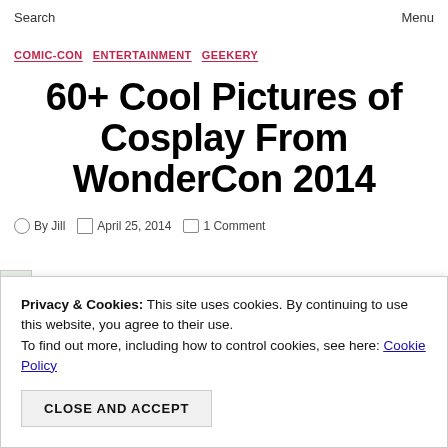Search   Menu
COMIC-CON   ENTERTAINMENT   GEEKERY
60+ Cool Pictures of Cosplay From WonderCon 2014
By Jill   April 25, 2014   1 Comment
Privacy & Cookies: This site uses cookies. By continuing to use this website, you agree to their use. To find out more, including how to control cookies, see here: Cookie Policy
CLOSE AND ACCEPT